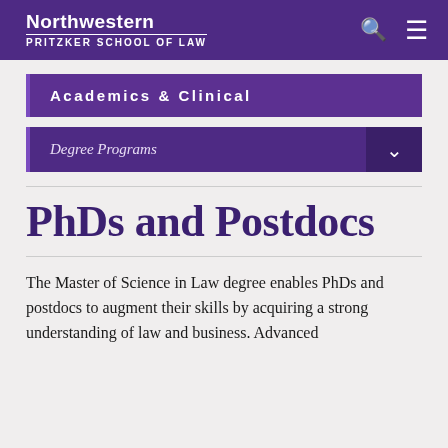Northwestern PRITZKER SCHOOL OF LAW
Academics & Clinical
Degree Programs
PhDs and Postdocs
The Master of Science in Law degree enables PhDs and postdocs to augment their skills by acquiring a strong understanding of law and business. Advanced